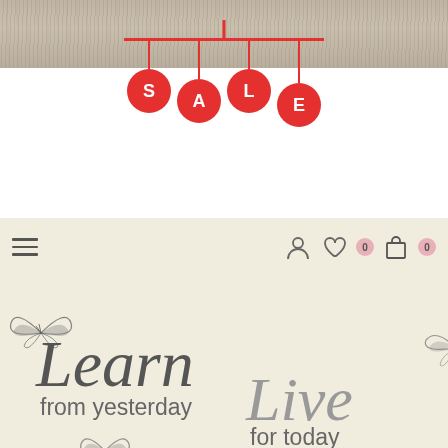[Figure (illustration): Wood grain texture background at top of page]
[Figure (illustration): SALE hanging tag graphic with four red circular tags spelling S-A-L-E suspended from a red horizontal bar with strings]
[Figure (screenshot): Website navigation bar on cream background with hamburger menu icon on left, user account icon, heart/wishlist icon with badge showing 0, and shopping bag icon with badge showing 0 on right]
[Figure (illustration): Decorative cursive text 'Learn from yesterday' with butterfly illustrations on cream background, and cursive 'Live for today' text with butterfly on right side]